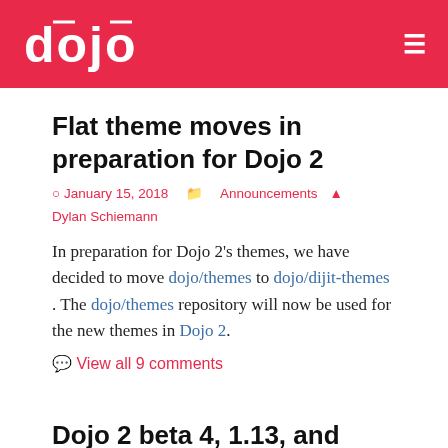dojo
Flat theme moves in preparation for Dojo 2
January 15, 2018  Announcements  Dylan Schiemann
In preparation for Dojo 2's themes, we have decided to move dojo/themes to dojo/dijit-themes . The dojo/themes repository will now be used for the new themes in Dojo 2.
View all 9 comments
Dojo 2 beta 4, 1.13, and Discourse
December 14, 2017  Announcements